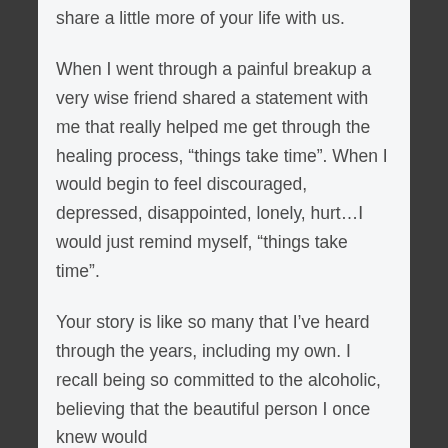share a little more of your life with us.
When I went through a painful breakup a very wise friend shared a statement with me that really helped me get through the healing process, “things take time”. When I would begin to feel discouraged, depressed, disappointed, lonely, hurt…I would just remind myself, “things take time”.
Your story is like so many that I’ve heard through the years, including my own. I recall being so committed to the alcoholic, believing that the beautiful person I once knew would